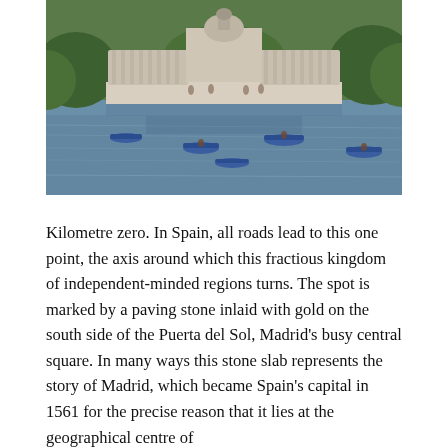[Figure (photo): A large ornate neoclassical monument with colonnades reflected in a wide lake. Several small blue rowing boats are on the water. Green trees surround the monument in the background. This appears to be the Alfonso XII monument at Retiro Park in Madrid.]
Kilometre zero. In Spain, all roads lead to this one point, the axis around which this fractious kingdom of independent-minded regions turns. The spot is marked by a paving stone inlaid with gold on the south side of the Puerta del Sol, Madrid's busy central square. In many ways this stone slab represents the story of Madrid, which became Spain's capital in 1561 for the precise reason that it lies at the geographical centre of